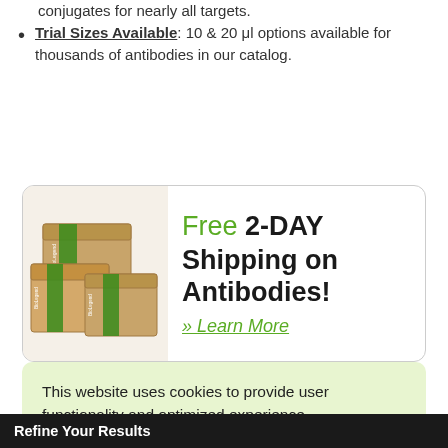conjugates for nearly all targets.
Trial Sizes Available: 10 & 20 μl options available for thousands of antibodies in our catalog.
[Figure (photo): Stack of cardboard boxes with green tape labeled with company branding, used in a shipping advertisement banner]
Free 2-DAY Shipping on Antibodies! » Learn More
[Figure (photo): Partially visible second card with a green seal/badge at the top]
This website uses cookies to provide user functionality and optimized experience. Privacy Policy
Got It
Refine Your Results